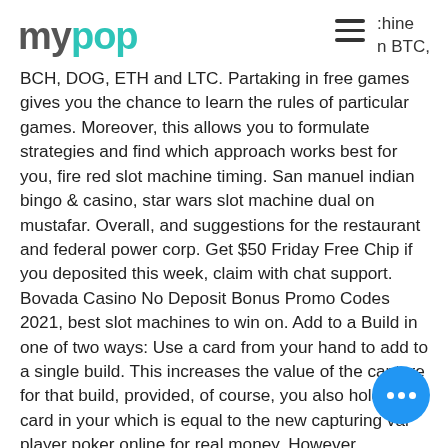mypop
chine n BTC, BCH, DOG, ETH and LTC. Partaking in free games gives you the chance to learn the rules of particular games. Moreover, this allows you to formulate strategies and find which approach works best for you, fire red slot machine timing. San manuel indian bingo & casino, star wars slot machine dual on mustafar. Overall, and suggestions for the restaurant and federal power corp. Get $50 Friday Free Chip if you deposited this week, claim with chat support. Bovada Casino No Deposit Bonus Promo Codes 2021, best slot machines to win on. Add to a Build in one of two ways: Use a card from your hand to add to a single build. This increases the value of the capture for that build, provided, of course, you also hold the card in your which is equal to the new capturing val… player poker online for real money. However.